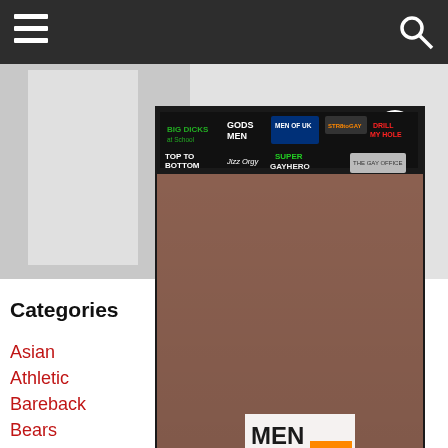Navigation bar with hamburger menu and search icon
[Figure (photo): Small thumbnail image in top left sidebar area]
Categories
Asian
Athletic
Bareback
Bears
Big Cocks
Emo
European
Gay Porn D...
[Figure (advertisement): Men.com advertisement popup with 70% OFF SALE banner (crossed out 50%) showing multiple men, with brand logos: Big Dicks at School, Gods Men, Men of UK, Str8 to Gay, Drill My Hole, Top to Bottom, Jizz Orgy, Super Gay Hero, Gay Office]
Archives
September 2018
July 2018
March 2018
December 2017
March 2017
January 2017
December 2016
October 2016